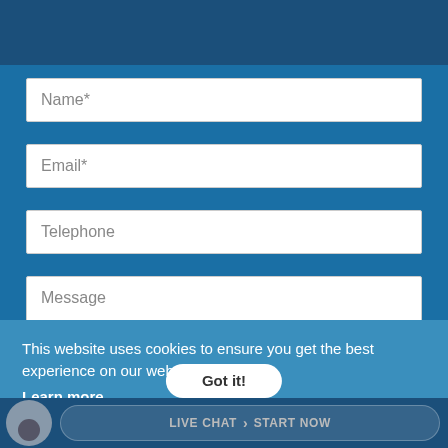Make A Free Enquiry
Name*
Email*
Telephone
Message
This website uses cookies to ensure you get the best experience on our website. Learn more
Got it!
LIVE CHAT  >  START NOW